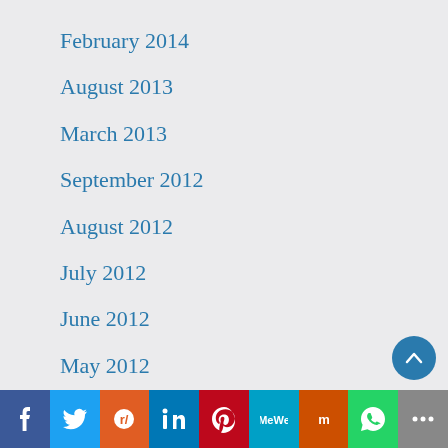February 2014
August 2013
March 2013
September 2012
August 2012
July 2012
June 2012
May 2012
April 2012
March 2012
February 2012